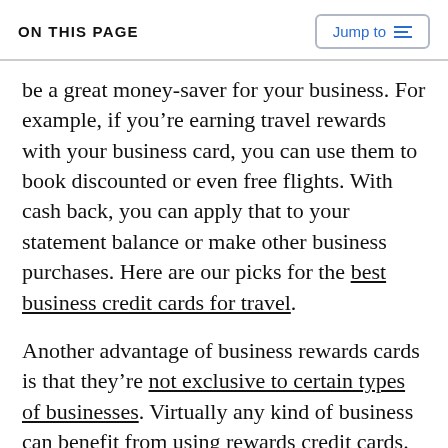ON THIS PAGE
be a great money-saver for your business. For example, if you’re earning travel rewards with your business card, you can use them to book discounted or even free flights. With cash back, you can apply that to your statement balance or make other business purchases. Here are our picks for the best business credit cards for travel.
Another advantage of business rewards cards is that they’re not exclusive to certain types of businesses. Virtually any kind of business can benefit from using rewards credit cards. It’s all about choosing the right card for your business